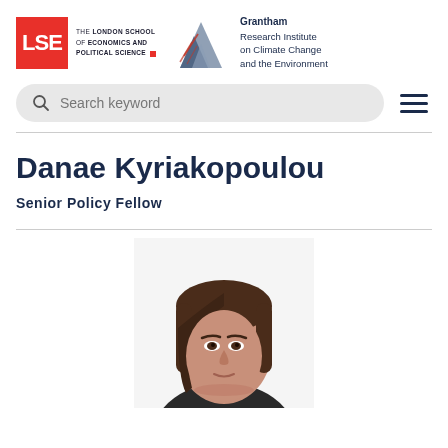[Figure (logo): LSE (London School of Economics and Political Science) logo with red square and institution name, alongside Grantham Research Institute on Climate Change and the Environment logo with mountain graphic]
Search keyword
Danae Kyriakopoulou
Senior Policy Fellow
[Figure (photo): Headshot photograph of Danae Kyriakopoulou, a woman with straight brown hair, cropped at top of frame showing face and upper head]